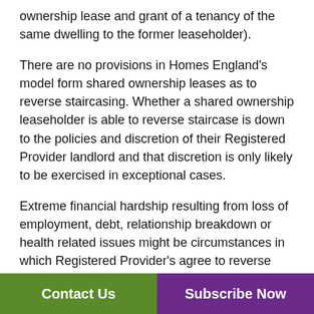ownership lease and grant of a tenancy of the same dwelling to the former leaseholder).
There are no provisions in Homes England's model form shared ownership leases as to reverse staircasing. Whether a shared ownership leaseholder is able to reverse staircase is down to the policies and discretion of their Registered Provider landlord and that discretion is only likely to be exercised in exceptional cases.
Extreme financial hardship resulting from loss of employment, debt, relationship breakdown or health related issues might be circumstances in which Registered Provider's agree to reverse staircasing. It can be deployed as a means of avoiding repossessions by mortgage lenders. The prim... allow... their
Contact Us
Subscribe Now